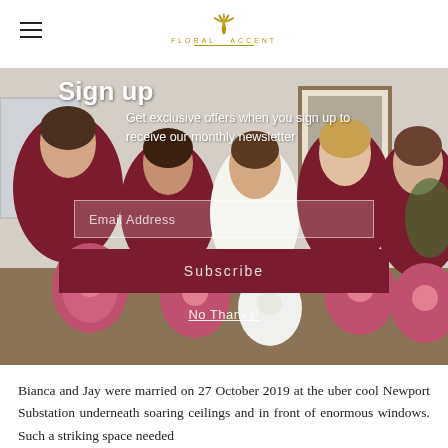Floral Accent — navigation header with hamburger menu and logo
[Figure (photo): Wedding party photo showing bride in white dress with four bridesmaids in dark red/burgundy dresses holding pink protea bouquets, indoors with framed artwork on wall]
Sign up
Get exclusive offers when you sign up to receive our monthly newsletter
Email Address
Subscribe
No Thanks!
Bianca and Jay were married on 27 October 2019 at the uber cool Newport Substation underneath soaring ceilings and in front of enormous windows. Such a striking space needed